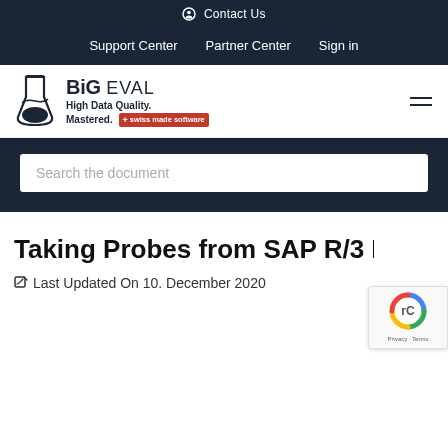Contact Us
Support Center  Partner Center  Sign in
[Figure (logo): BiG EVAL logo with flask icon, tagline 'High Data Quality. Mastered.' and swiss made software badge]
Search the document
Taking Probes from SAP R/3 ECC
Last Updated On 10. December 2020